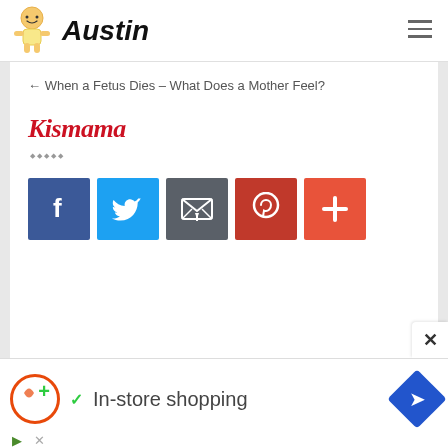Austin
← When a Fetus Dies – What Does a Mother Feel?
[Figure (logo): Kismama logo in red italic serif font]
[Figure (infographic): Social media share buttons: Facebook (blue), Twitter (light blue), Email (dark grey), Pinterest (red), Plus/More (orange-red)]
[Figure (infographic): Advertisement banner: circular orange logo with plus sign, green checkmark, text 'In-store shopping', blue diamond navigation icon, with close button and play/x icons]